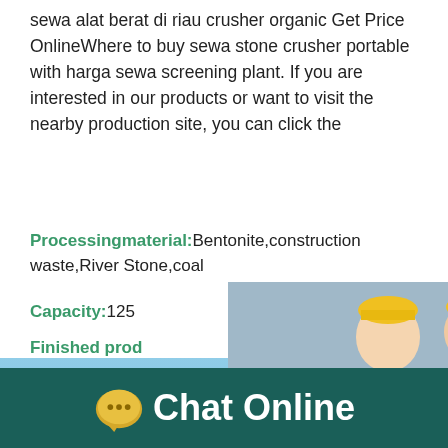sewa alat berat di riau crusher organic Get Price OnlineWhere to buy sewa stone crusher portable with harga sewa screening plant. If you are interested in our products or want to visit the nearby production site, you can click the
Processingmaterial:Bentonite,construction waste,River Stone,coal
Capacity:125T
Finished prod  hour online
[Figure (screenshot): Live chat popup overlay showing workers in hard hats, LIVE CHAT heading in red italic text, subtitle 'Click for a Free Consultation', red 'Chat now' button and dark 'Chat later' button, close X button in corner]
[Figure (photo): Industrial building/factory with blue sky background and machinery (cone crusher) on right side panel with blue background and 'Click me to chat>>' button]
Chat Online